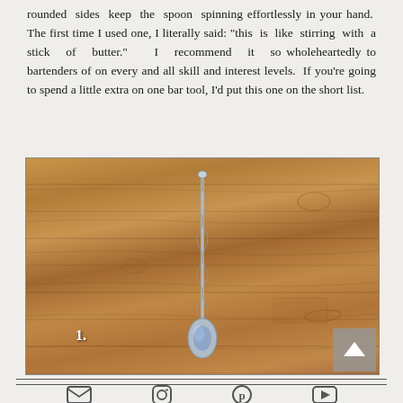rounded sides keep the spoon spinning effortlessly in your hand. The first time I used one, I literally said: "this is like stirring with a stick of butter." I recommend it so wholeheartedly to bartenders of on every and all skill and interest levels. If you're going to spend a little extra on one bar tool, I'd put this one on the short list.
[Figure (photo): A long bar spoon with twisted handle and teardrop-shaped bowl, photographed against a rustic wood plank background. A number label '1.' appears in the lower left area of the image. A scroll-to-top arrow button is visible in the lower right corner.]
Social media icons: email, Instagram, Pinterest, YouTube